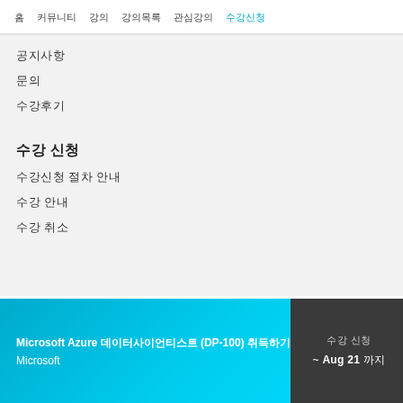홈  커뮤니티  강의  강의목록  관심강의  수강신청
공지사항
문의
수강후기
수강 신청
수강신청 절차 안내
수강 안내
수강 취소
Microsoft Azure 데이터사이언티스트 (DP-100) 취득하기
Microsoft
수강 신청
~ Aug 21 까지